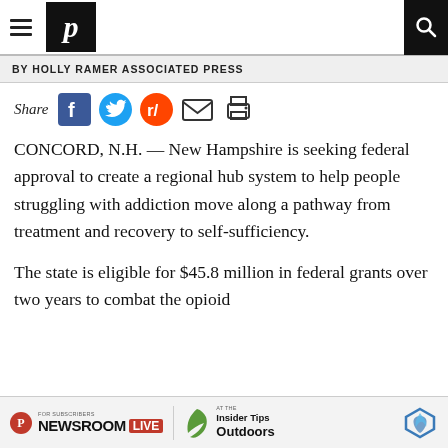Navigation bar with hamburger menu, P logo, and search icon
BY HOLLY RAMER ASSOCIATED PRESS
[Figure (other): Social share icons row: Share label followed by Facebook, Twitter, Reddit, Email, and Print icons]
CONCORD, N.H. — New Hampshire is seeking federal approval to create a regional hub system to help people struggling with addiction move along a pathway from treatment and recovery to self-sufficiency.
The state is eligible for $45.8 million in federal grants over two years to combat the opioid
[Figure (other): Advertisement banner: Newsroom Live logo with For Subscribers text, Insider Tips at the Outdoors promotion with leaf icon and decorative logo]